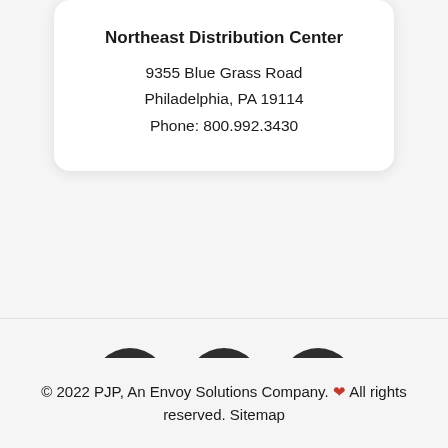Northeast Distribution Center
9355 Blue Grass Road
Philadelphia, PA 19114
Phone: 800.992.3430
[Figure (illustration): Three social media icon circles (Instagram, Facebook, LinkedIn) in dark gray on a light gray background]
© 2022 PJP, An Envoy Solutions Company. ❤ All rights reserved. Sitemap